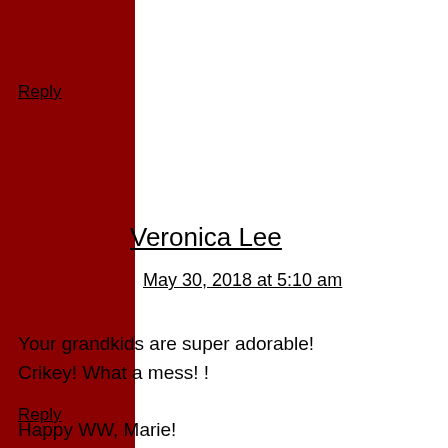[Figure (illustration): Red background with white snowflake/star pattern forming a decorative sidebar on the left side of the page]
Reply
Veronica Lee
May 30, 2018 at 5:10 am
Your grandkids are super adorable! Crikey! What a mess! !

Happy WW, Marie!
Reply